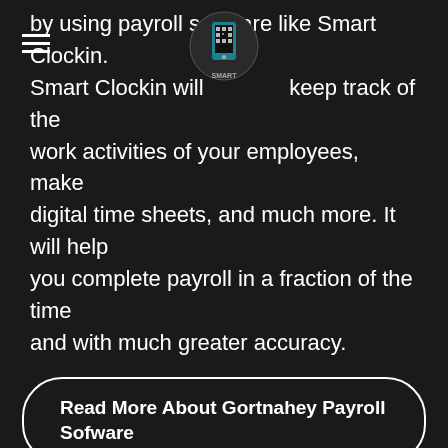by using payroll software like Smart Clockin. Smart Clockin will help you keep track of the work activities of your employees, make digital time sheets, and much more. It will help you complete payroll in a fraction of the time and with much greater accuracy.
Read More About Gortnahey Payroll Sofware
[Figure (photo): A woman with blonde hair in a bun seen from behind, holding a smartphone, facing a framed picture on a wall showing a person with arms raised at sunset. The phone screen shows a Clock Out interface.]